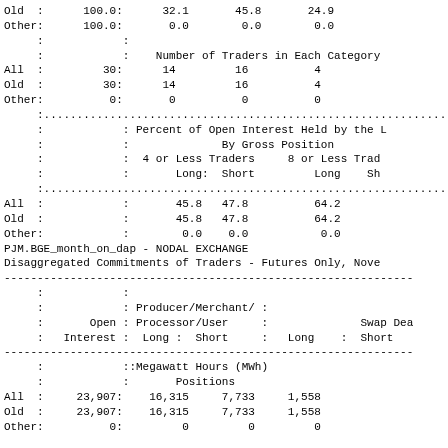| Category | Open Interest | Long | Short | Long | Short |
| --- | --- | --- | --- | --- | --- |
| Old | 100.0: | 32.1 | 45.8 | 24.9 |  |
| Other: | 100.0: | 0.0 | 0.0 | 0.0 |  |
|  | : |  |  |  |  |
|  | : | Number of Traders in Each Category |  |  |  |
| All | 30: | 14 | 16 | 4 |  |
| Old | 30: | 14 | 16 | 4 |  |
| Other: | 0: | 0 | 0 | 0 |  |
| Category |  | 4 or Less Traders Long | Short | 8 or Less Trad Long | Sh |
| --- | --- | --- | --- | --- | --- |
|  |  | Percent of Open Interest Held by the |  |  |  |
|  |  | By Gross Position |  |  |  |
| All | : | 45.8 | 47.8 | 64.2 |  |
| Old | : | 45.8 | 47.8 | 64.2 |  |
| Other: |  | 0.0 | 0.0 | 0.0 |  |
PJM.BGE_month_on_dap - NODAL EXCHANGE
Disaggregated Commitments of Traders - Futures Only, Nove
|  | Open Interest | Producer/Merchant/ Processor/User Long | Short | Long | Short |
| --- | --- | --- | --- | --- | --- |
|  | : | :Megawatt Hours (MWh) |  |  |  |
|  |  | : Positions |  |  |  |
| All | 23,907: | 16,315 | 7,733 | 1,558 |  |
| Old | 23,907: | 16,315 | 7,733 | 1,558 |  |
| Other: | 0: | 0 | 0 | 0 |  |